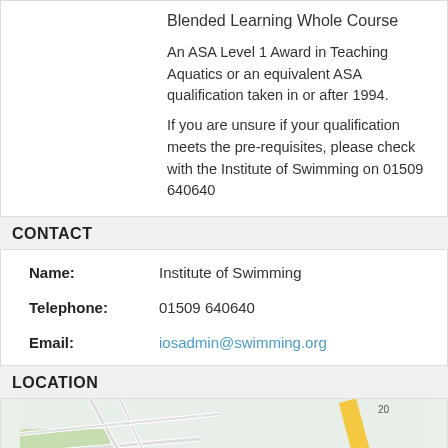Blended Learning Whole Course
An ASA Level 1 Award in Teaching Aquatics or an equivalent ASA qualification taken in or after 1994.
If you are unsure if your qualification meets the pre-requisites, please check with the Institute of Swimming on 01509 640640
CONTACT
| Name: | Institute of Swimming |
| Telephone: | 01509 640640 |
| Email: | iosadmin@swimming.org |
LOCATION
[Figure (map): Street map showing local area with a road and text 'Drift Bridge C' visible on yellow road on right side]